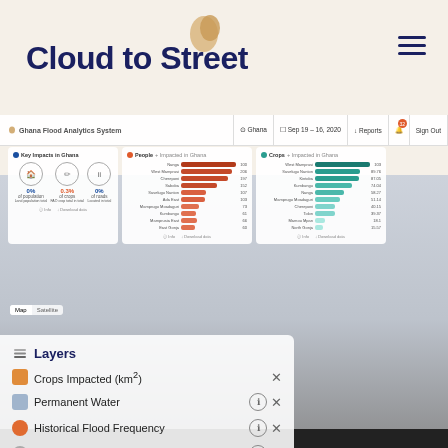Cloud to Street
[Figure (screenshot): Ghana Flood Analytics System dashboard screenshot showing a map of Ghana with overlay panels: Key Impacts in Ghana (0% of population, 0.3% of crops, 0% of roads), People Impacted in Ghana bar chart (Nanga 100, West Mamprusi 206, Chereponi 197, Saboba 152, Savelugu Nanton 107, Ada East 103, Mamprugu Moadaguri 73, Kumbungu 61, Mamprusia East 66, East Gonja 60), Crops Impacted in Ghana bar chart (West Mamprusi 103, Savelugu Nanton 89.76, Kintoba 87.05, Kumbungu 74.04, Nanga 58.27, Mamprugu Moadaguri 51.14, Chereponi 40.15, Tolon 39.37, Mamou Mpan 18.1, North Gonja 15.57), and Layers panel showing Crops Impacted km2, Permanent Water, Historical Flood Frequency, Cropland 5-m resolution]
Layers
Crops Impacted (km²)
Permanent Water
Historical Flood Frequency
Cropland (5-m resolution)